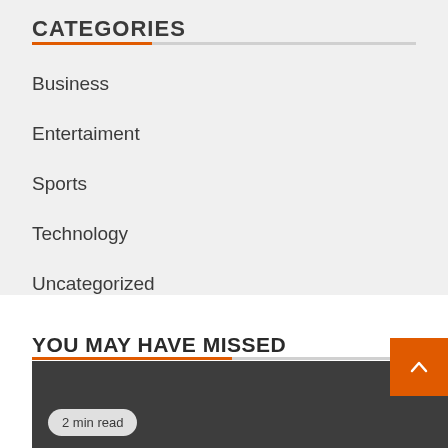CATEGORIES
Business
Entertaiment
Sports
Technology
Uncategorized
Vehement Finance News Network
YOU MAY HAVE MISSED
2 min read